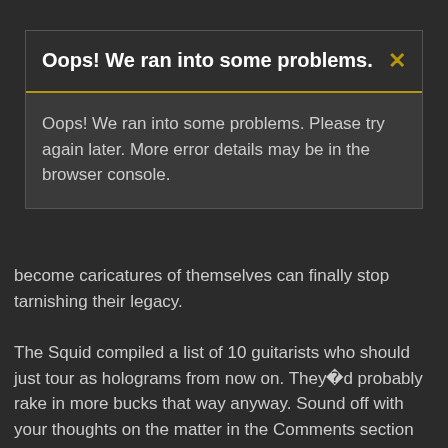Oops! We ran into some problems.
Oops! We ran into some problems. Please try again later. More error details may be in the browser console.
become caricatures of themselves can finally stop tarnishing their legacy.
The Squid compiled a list of 10 guitarists who should just tour as holograms from now on. Theyÿd probably rake in more bucks that way anyway. Sound off with your thoughts on the matter in the Comments section below!
John Mayer
John Mayer is a pretty good guitarist in his own right, albeit a complete rip-off of all blues and rock guitarists who came before him. Letÿs face it, most of the original appeal of Mr. ÿYour Body is a